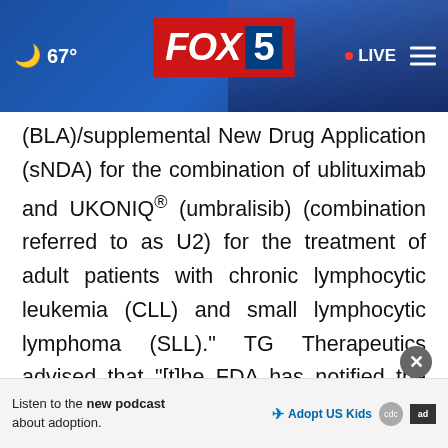67° FOX 5 • LIVE
(BLA)/supplemental New Drug Application (sNDA) for the combination of ublituximab and UKONIQ® (umbralisib) (combination referred to as U2) for the treatment of adult patients with chronic lymphocytic leukemia (CLL) and small lymphocytic lymphoma (SLL)." TG Therapeutics advised that "[t]he FDA has notified the Company that potential questions and discussion topics for the ODAC include: the benefit-risk of the U2 combination in the treatment [...]isk of
Listen to the new podcast about adoption.